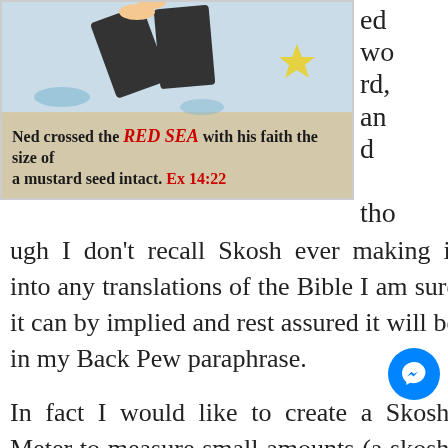[Figure (illustration): Comic strip illustration showing a cartoon figure crossing the Red Sea. Caption text reads: Ned crossed the RED SEA with his faith the size of a mustard seed intact. Ex 14:22]
ed wo rd, an d tho ugh I don't recall Skosh ever making it into any translations of the Bible I am sure it can by implied and rest assured it will be in my Back Pew paraphrase.
In fact I would like to create a Skosh-Meter to measure small amounts (a skosh) of.. 'stuff' you cannot measure with your standard ruler or scale.
For example, Ned crossed through the Red Sea with the nation of Israel in Exodus 14 and the